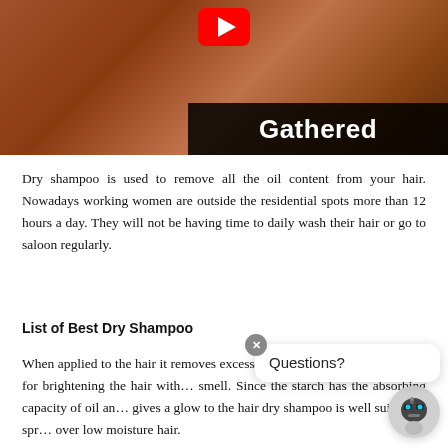[Figure (photo): Screenshot of a webpage showing a YouTube video thumbnail of a woman with long reddish-brown hair, with a dark overlay bar showing the text 'Gathered']
Dry shampoo is used to remove all the oil content from your hair. Nowadays working women are outside the residential spots more than 12 hours a day. They will not be having time to daily wash their hair or go to saloon regularly.
List of Best Dry Shampoo
When applied to the hair it removes excess oil mo... can say that it is used for brightening the hair with... smell. Since the starch has the absorbing capacity of oil an... gives a glow to the hair dry shampoo is well suited for spr... over low moisture hair.